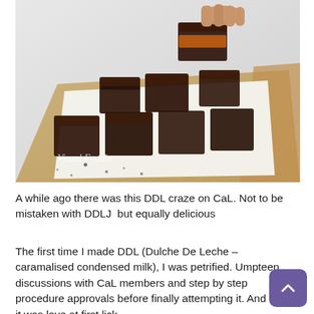[Figure (photo): A hand holding up a chocolate brownie square above a wooden board with multiple chocolate brownies cut into squares, arranged on white parchment paper. Watermark text reads 'Visual Foodie' in the bottom left corner.]
A while ago there was this DDL craze on CaL. Not to be mistaken with DDLJ  but equally delicious
The first time I made DDL (Dulche De Leche – caramalised condensed milk), I was petrified. Umpteen discussions with CaL members and step by step procedure approvals before finally attempting it. And then it was love at first lick.